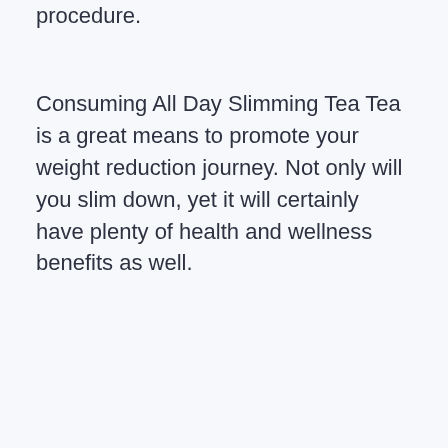procedure.
Consuming All Day Slimming Tea Tea is a great means to promote your weight reduction journey. Not only will you slim down, yet it will certainly have plenty of health and wellness benefits as well.